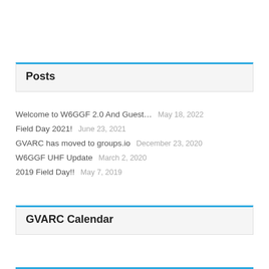Posts
Welcome to W6GGF 2.0 And Guest…    May 18, 2022
Field Day 2021!    June 23, 2021
GVARC has moved to groups.io    December 23, 2020
W6GGF UHF Update    March 2, 2020
2019 Field Day!!    May 7, 2019
GVARC Calendar